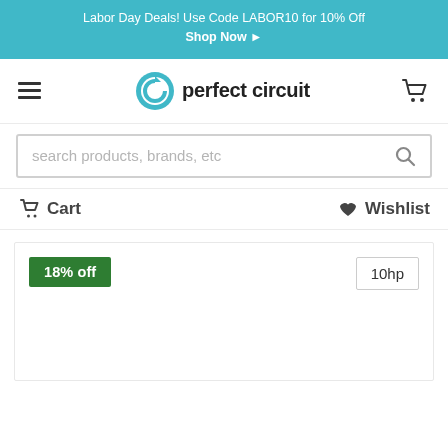Labor Day Deals! Use Code LABOR10 for 10% Off Shop Now ➤
[Figure (logo): Perfect Circuit logo with circular arrow icon and bold lowercase text 'perfect circuit']
search products, brands, etc
Cart   Wishlist
18% off   10hp